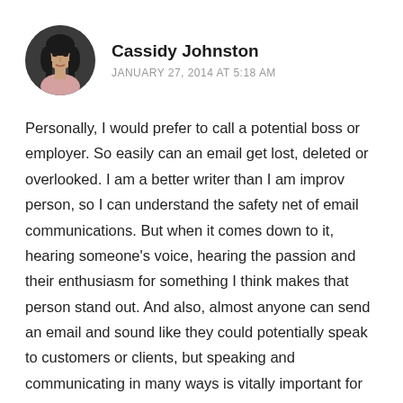[Figure (photo): Circular avatar photo of a young woman with long dark hair]
Cassidy Johnston
JANUARY 27, 2014 AT 5:18 AM
Personally, I would prefer to call a potential boss or employer. So easily can an email get lost, deleted or overlooked. I am a better writer than I am improv person, so I can understand the safety net of email communications. But when it comes down to it, hearing someone's voice, hearing the passion and their enthusiasm for something I think makes that person stand out. And also, almost anyone can send an email and sound like they could potentially speak to customers or clients, but speaking and communicating in many ways is vitally important for many careers and businesses. On a side note, after applying to push carts at Fred Meyer for my first job, I called the HR to do a follow up, and while leaving my phone number I messed up on one number I